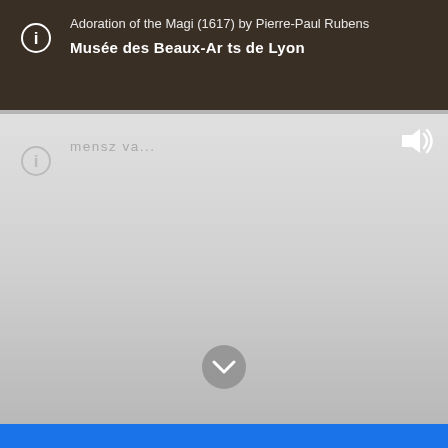Adoration of the Magi (1617) by Pierre-Paul Rubens
Musée des Beaux-Arts de Lyon
[Figure (screenshot): A UI panel showing an audio/info overlay. Contains an info icon, text 'mensz va...' in gray, a speaker/volume icon in the top right, and a chevron-down button at the bottom center. The background fades from light gray to medium gray.]